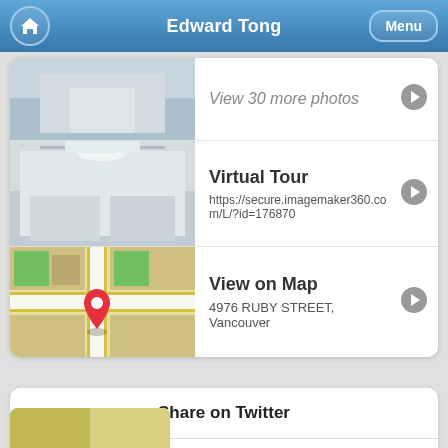Edward Tong
View 30 more photos
Virtual Tour
https://secure.imagemaker360.com/L/?id=176870
View on Map
4976 RUBY STREET, Vancouver
Share on Twitter
Email a Friend
Email REALTOR®
Call REALTOR®